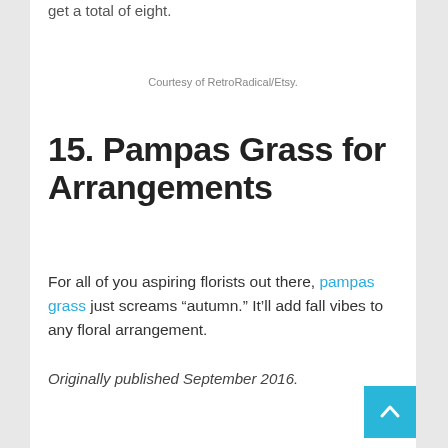get a total of eight.
Courtesy of RetroRadical/Etsy.
15. Pampas Grass for Arrangements
For all of you aspiring florists out there, pampas grass just screams “autumn.” It’ll add fall vibes to any floral arrangement.
Originally published September 2016.